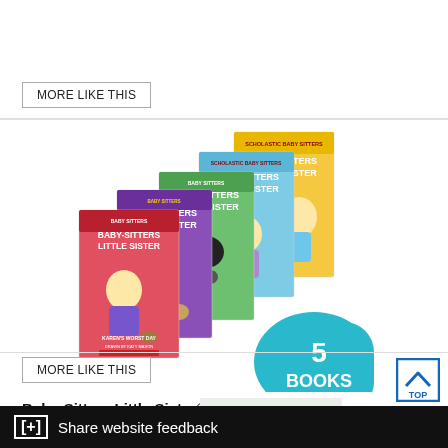MORE LIKE THIS
[Figure (photo): Stack of 5 Baby-Sitters Little Sister Graphix books fanned out, with a teal badge showing '5 BOOKS']
Baby-Sitters Little Sister® Graphix 5-Pack
MORE LIKE THIS
[Figure (other): Partial view of Dragon book cover at bottom of page]
[+] Share website feedback